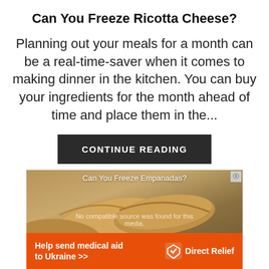Can You Freeze Ricotta Cheese?
Planning out your meals for a month can be a real-time-saver when it comes to making dinner in the kitchen. You can buy your ingredients for the month ahead of time and place them in the...
CONTINUE READING
[Figure (photo): Photo of empanadas with overlay text 'Can You Freeze Empanadas?' and a video player message about no compatible source]
Help send medical aid to Ukraine >> Direct Relief